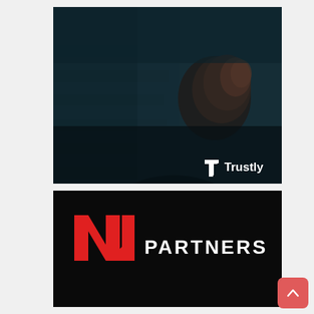[Figure (photo): Dark moody portrait photo of a man in a dark shirt against a brick wall background, with teal/dark blue color grading. Trustly logo in white appears in the bottom right corner of the image.]
[Figure (logo): N1 Partners logo on a black background. Features a stylized red N1 icon on the left and white bold 'PARTNERS' text to the right.]